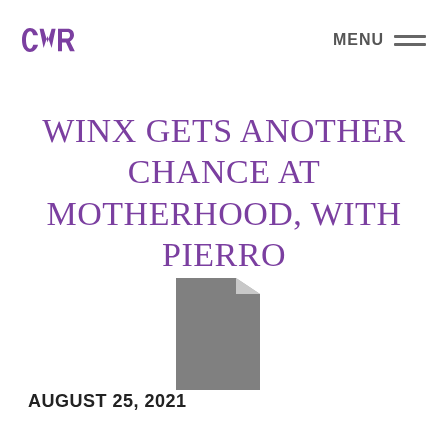CWR  MENU
WINX GETS ANOTHER CHANCE AT MOTHERHOOD, WITH PIERRO
[Figure (illustration): Gray document/file icon]
AUGUST 25, 2021